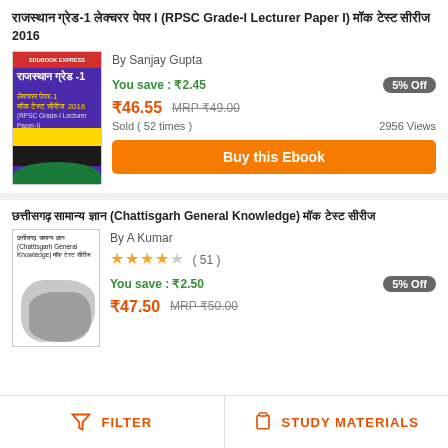राजस्थान ग्रेड-1 लेक्चरर पेपर I (RPSC Grade-I Lecturer Paper I) मॉक टेस्ट सीरीज 2016
[Figure (photo): Book cover of Rajasthan Grade-1 Lecturer Paper I mock test series 2016, purple and yellow cover]
By Sanjay Gupta
You save : ₹2.45
5% Off
₹46.55  MRP ₹49.00
Sold ( 52 times )
2956 Views
Buy this Ebook
छत्तीसगढ़ सामान्य ज्ञान (Chattisgarh General Knowledge) मॉक टेस्ट सीरीज
[Figure (photo): Book cover of Chattisgarh General Knowledge mock test series]
By A Kumar
★★★★☆ ( 51 )
You save : ₹2.50
5% Off
₹47.50  MRP ₹50.00
FILTER    STUDY MATERIALS